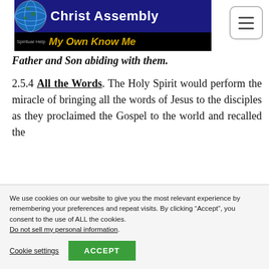Christ Assembly — My Own Know Me
Father and Son abiding with them.
2.5.4 All the Words. The Holy Spirit would perform the miracle of bringing all the words of Jesus to the disciples as they proclaimed the Gospel to the world and recalled the
We use cookies on our website to give you the most relevant experience by remembering your preferences and repeat visits. By clicking “Accept”, you consent to the use of ALL the cookies. Do not sell my personal information.
Cookie settings  ACCEPT